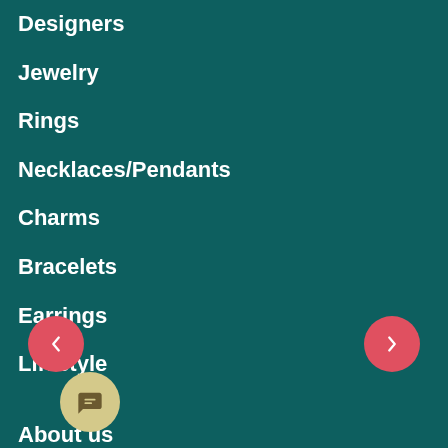Designers
Jewelry
Rings
Necklaces/Pendants
Charms
Bracelets
Earrings
Lifestyle
About us
Contact us
Disclaimer
Payment Method
[Figure (other): Left navigation arrow button (red circle with chevron left)]
[Figure (other): Right navigation arrow button (red circle with chevron right)]
[Figure (other): Chat/message button (tan/gold circle with chat bubble icon)]